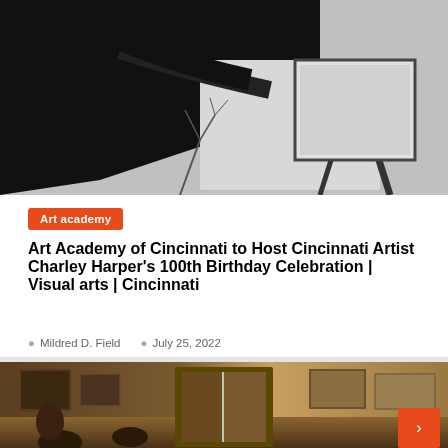[Figure (photo): Black and white photograph of an artist painting at an easel outdoors, silhouetted against a light background with bare tree branches visible]
Art academy
Art Academy of Cincinnati to Host Cincinnati Artist Charley Harper's 100th Birthday Celebration | Visual arts | Cincinnati
Mildred D. Field   July 25, 2022
[Figure (photo): Color painting or photograph showing an interior gallery or studio space with figures, wooden doors and walls, framed artwork visible]